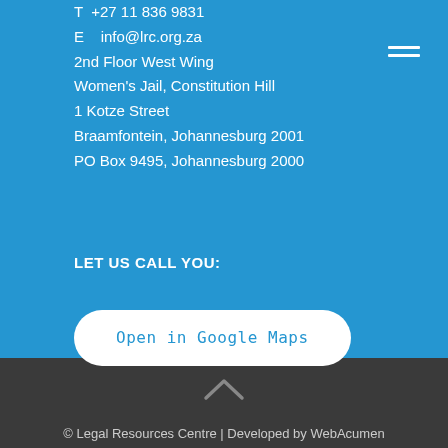T  +27 11 836 9831
E   info@lrc.org.za
2nd Floor West Wing
Women's Jail, Constitution Hill
1 Kotze Street
Braamfontein, Johannesburg 2001
PO Box 9495, Johannesburg 2000
[Figure (other): Hamburger menu icon (three horizontal white lines)]
Open in Google Maps
LET US CALL YOU:
[Figure (other): Upward chevron arrow icon in dark footer section]
© Legal Resources Centre | Developed by WebAcumen